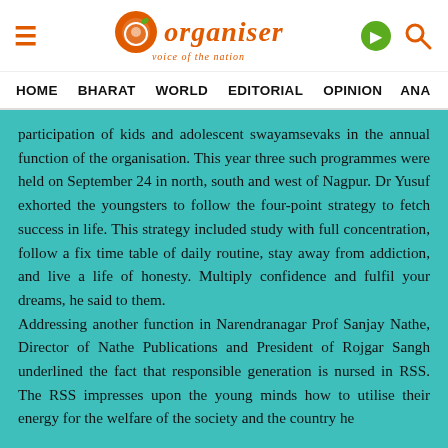Organiser — voice of the nation
HOME   BHARAT   WORLD   EDITORIAL   OPINION   ANA…
participation of kids and adolescent swayamsevaks in the annual function of the organisation. This year three such programmes were held on September 24 in north, south and west of Nagpur. Dr Yusuf exhorted the youngsters to follow the four-point strategy to fetch success in life. This strategy included study with full concentration, follow a fix time table of daily routine, stay away from addiction, and live a life of honesty. Multiply confidence and fulfil your dreams, he said to them.
Addressing another function in Narendranagar Prof Sanjay Nathe, Director of Nathe Publications and President of Rojgar Sangh underlined the fact that responsible generation is nursed in RSS. The RSS impresses upon the young minds how to utilise their energy for the welfare of the society and the country he…